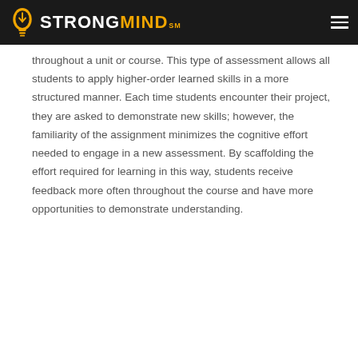STRONGMIND
throughout a unit or course. This type of assessment allows all students to apply higher-order learned skills in a more structured manner. Each time students encounter their project, they are asked to demonstrate new skills; however, the familiarity of the assignment minimizes the cognitive effort needed to engage in a new assessment. By scaffolding the effort required for learning in this way, students receive feedback more often throughout the course and have more opportunities to demonstrate understanding.